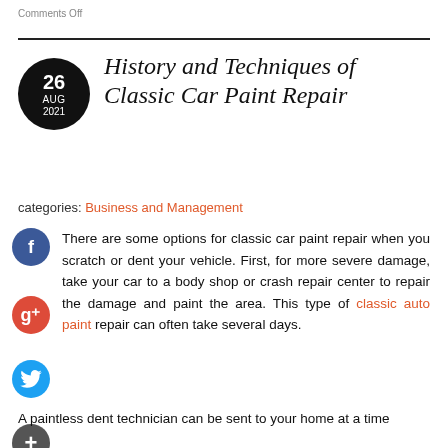Comments Off
History and Techniques of Classic Car Paint Repair
categories: Business and Management
There are some options for classic car paint repair when you scratch or dent your vehicle. First, for more severe damage, take your car to a body shop or crash repair center to repair the damage and paint the area. This type of classic auto paint repair can often take several days.
A paintless dent technician can be sent to your home at a time